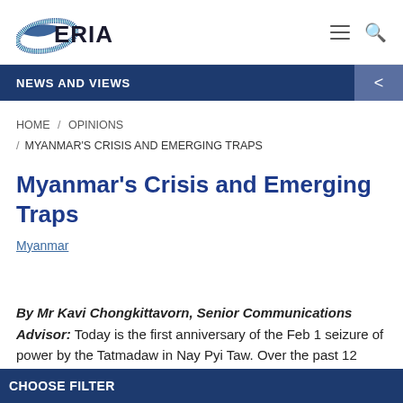[Figure (logo): ERIA logo with blue ellipse/swoosh and bold 'ERIA' text]
NEWS AND VIEWS
HOME / OPINIONS / MYANMAR'S CRISIS AND EMERGING TRAPS
Myanmar's Crisis and Emerging Traps
Myanmar
By Mr Kavi Chongkittavorn, Senior Communications Advisor: Today is the first anniversary of the Feb 1 seizure of power by the Tatmadaw in Nay Pyi Taw. Over the past 12
CHOOSE FILTER